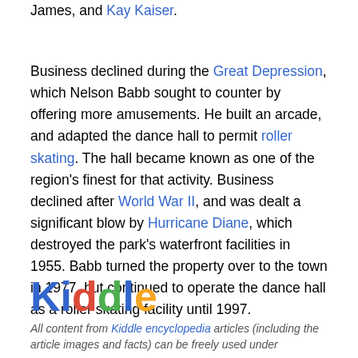Performers at the venue included Tommy Dorsey, Harry James, and Kay Kaiser.
Business declined during the Great Depression, which Nelson Babb sought to counter by offering more amusements. He built an arcade, and adapted the dance hall to permit roller skating. The hall became known as one of the region's finest for that activity. Business declined after World War II, and was dealt a significant blow by Hurricane Diane, which destroyed the park's waterfront facilities in 1955. Babb turned the property over to the town in 1977, but continued to operate the dance hall as a roller skating facility until 1997.
[Figure (logo): Kiddle encyclopedia logo with colorful letters: K (blue), i (blue with orange dot), d (red), d (green), l (blue), e (yellow/orange)]
All content from Kiddle encyclopedia articles (including the article images and facts) can be freely used under